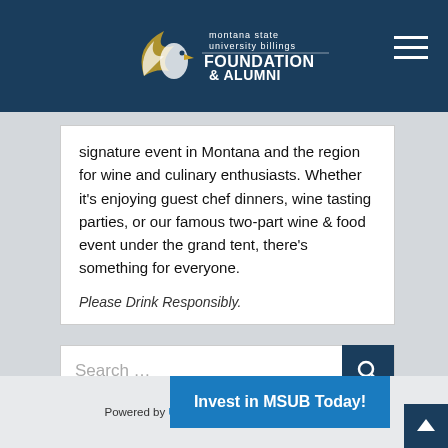Montana State University Billings Foundation & Alumni
signature event in Montana and the region for wine and culinary enthusiasts. Whether it's enjoying guest chef dinners, wine tasting parties, or our famous two-part wine & food event under the grand tent, there's something for everyone.

Please Drink Responsibly.
Search …
Powered by Ultra Graph… ymous data from…
Invest in MSUB Today!